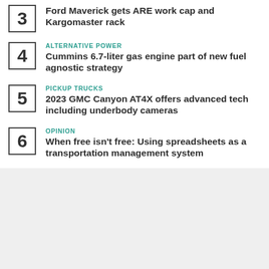3 Ford Maverick gets ARE work cap and Kargomaster rack
4 ALTERNATIVE POWER Cummins 6.7-liter gas engine part of new fuel agnostic strategy
5 PICKUP TRUCKS 2023 GMC Canyon AT4X offers advanced tech including underbody cameras
6 OPINION When free isn't free: Using spreadsheets as a transportation management system